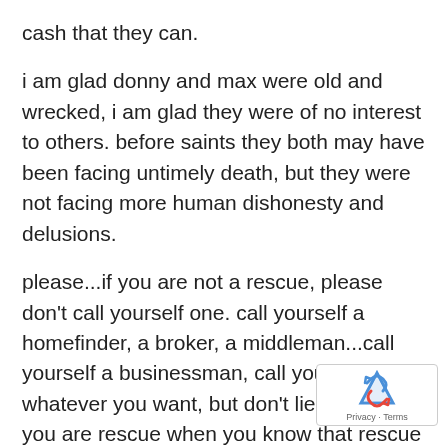cash that they can.
i am glad donny and max were old and wrecked, i am glad they were of no interest to others. before saints they both may have been facing untimely death, but they were not facing more human dishonesty and delusions.
please...if you are not a rescue, please don't call yourself one. call yourself a homefinder, a broker, a middleman...call yourself a businessman, call yourself whatever you want, but don't lie and say you are rescue when you know that rescue is not even close to what you do.
donny and max were rescues..of that they could be certain. it meant that they were loved and cared for. it meant they had more value then any amount of dollars...it meant,